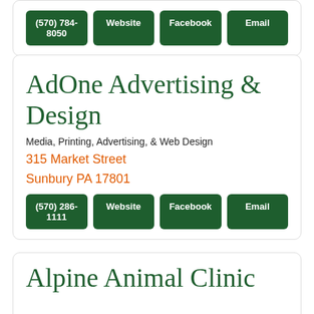(570) 784-8050 | Website | Facebook | Email
AdOne Advertising & Design
Media, Printing, Advertising, & Web Design
315 Market Street
Sunbury PA 17801
(570) 286-1111 | Website | Facebook | Email
Alpine Animal Clinic